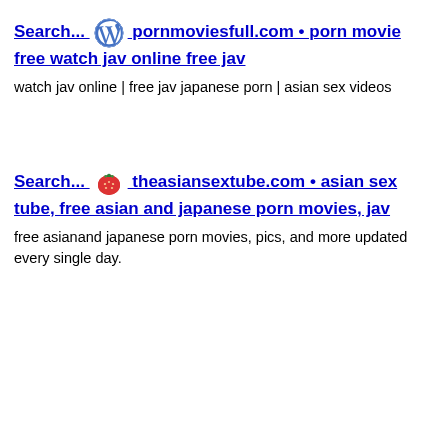Search... pornmoviesfull.com • porn movie free watch jav online free jav
watch jav online | free jav japanese porn | asian sex videos
Search... theasiansextube.com • asian sex tube, free asian and japanese porn movies, jav
free asianand japanese porn movies, pics, and more updated every single day.